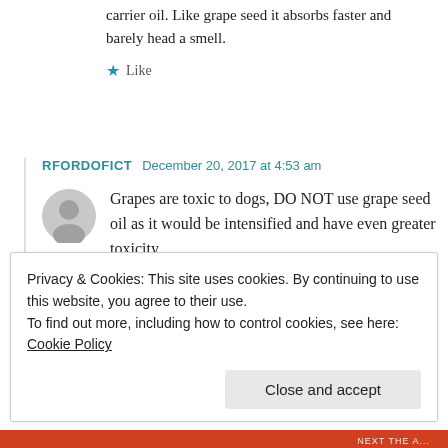carrier oil. Like grape seed it absorbs faster and barely head a smell.
★ Like
RFORDOFICT   December 20, 2017 at 4:53 am
Grapes are toxic to dogs, DO NOT use grape seed oil as it would be intensified and have even greater toxicity.
Privacy & Cookies: This site uses cookies. By continuing to use this website, you agree to their use.
To find out more, including how to control cookies, see here: Cookie Policy
Close and accept